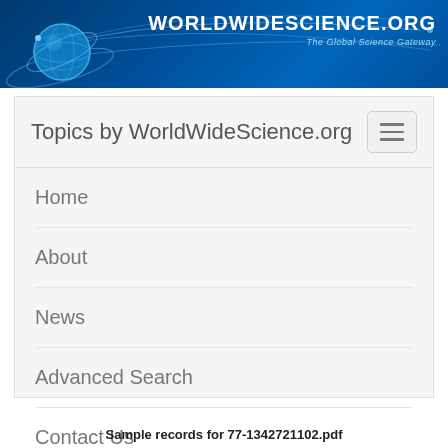[Figure (logo): WorldWideScience.org banner with globe graphic and website title. Blue gradient background with globe icon on left and 'WorldWideScience.org / The Global Science Gateway' text on right.]
Topics by WorldWideScience.org
Home
About
News
Advanced Search
Contact Us
Site Map
Help
Sample records for 77-1342721102.pdf